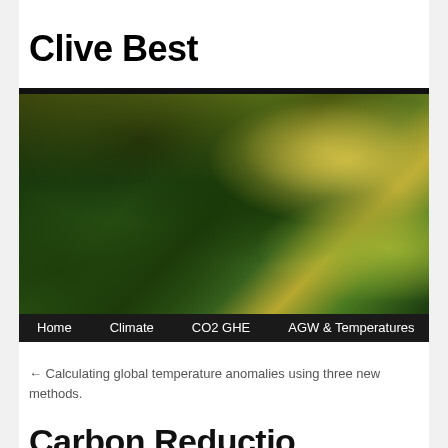Clive Best
[Figure (photo): Header photo of a lush green forest/woodland scene with trees, foliage, and dappled light, with a dark navigation bar at the bottom showing menu items: Home, Climate, CO2 GHE, AGW & Temperatures, Energy]
← Calculating global temperature anomalies using three new methods.
Carbon Reductio...